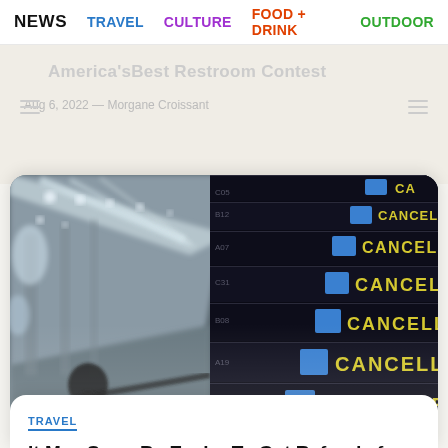NEWS  TRAVEL  CULTURE  FOOD + DRINK  OUTDOOR
America'sBest Restroom Contest
Aug 6, 2022 — Morgane Croissant
[Figure (photo): Airport flight information board showing multiple CANCELLED flights in yellow text on dark background, with blurred airport terminal and a person in foreground]
TRAVEL
It May Soon Be Easier To Get Refunds for